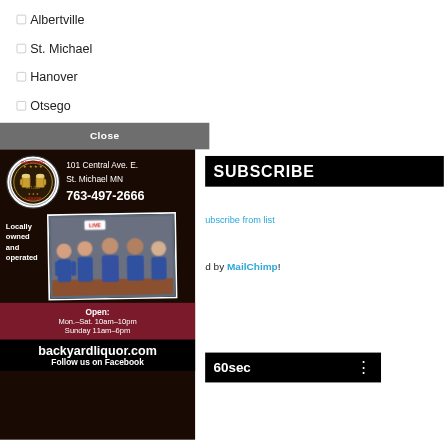☐ Albertville
☐ St. Michael
☐ Hanover
☐ Otsego
Close
[Figure (infographic): Backyard Liquor advertisement: logo, address 101 Central Ave. E., St. Michael MN, phone 763-497-2666, group photo of staff, 'Locally owned and operated', open hours Mon.-Sat. 10am-10pm, Sunday 11am-6pm, website backyardliquor.com, Follow us on Facebook]
SUBSCRIBE
Ubscribe from list
d by MailChimp!
60sec